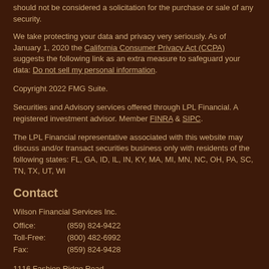should not be considered a solicitation for the purchase or sale of any security.
We take protecting your data and privacy very seriously. As of January 1, 2020 the California Consumer Privacy Act (CCPA) suggests the following link as an extra measure to safeguard your data: Do not sell my personal information.
Copyright 2022 FMG Suite.
Securities and Advisory services offered through LPL Financial. A registered investment advisor. Member FINRA & SIPC.
The LPL Financial representative associated with this website may discuss and/or transact securities business only with residents of the following states: FL, GA, ID, IL, IN, KY, MA, MI, MN, NC, OH, PA, SC, TN, TX, UT, WI
Contact
Wilson Financial Services Inc.
Office:      (859) 824-9422
Toll-Free:  (800) 482-6992
Fax:          (859) 824-9428
1116 Fashion Ridge Road
Dry Ridge, KY 41035
james.wilson@lpl.com
Series 24, 6, 7, 63, 65 held with LPL Financial Services